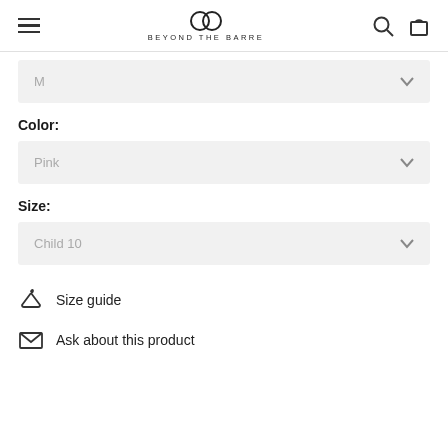BEYOND THE BARRE
M
Color:
Pink
Size:
Child 10
Size guide
Ask about this product